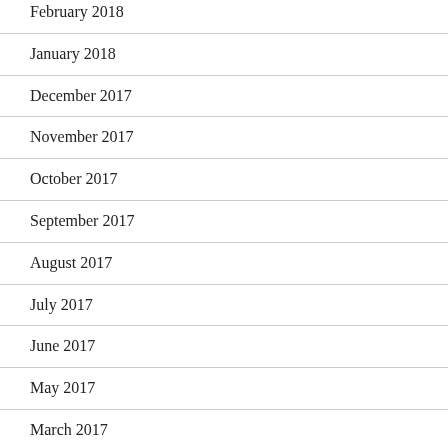February 2018
January 2018
December 2017
November 2017
October 2017
September 2017
August 2017
July 2017
June 2017
May 2017
March 2017
February 2017